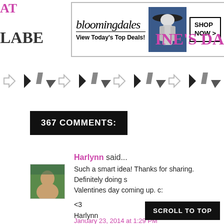[Figure (screenshot): Bloomingdale's advertisement banner: logo, 'View Today's Top Deals!', woman in hat photo, 'SHOP NOW >' button]
[Figure (illustration): Row of decorative arrows and download icons alternating: outline arrow right, black filled arrow icons, repeated]
367 COMMENTS:
Harlynn said...
Such a smart idea! Thanks for sharing. Definitely doing s Valentines day coming up. c:
<3
Harlynn
www.mindyourmadness.blogspot.co
January 23, 2014 at 1:29 PM
SCROLL TO TOP